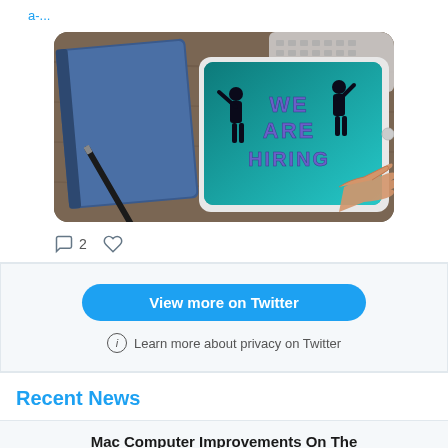a-...
[Figure (photo): Photo of a tablet on a wooden desk next to a blue notebook and stylus. The tablet screen displays 'WE ARE HIRING' with silhouettes of two people, and a hand is pointing at the screen.]
2 (comment icon, heart icon)
View more on Twitter
Learn more about privacy on Twitter
Recent News
Mac Computer Improvements On The